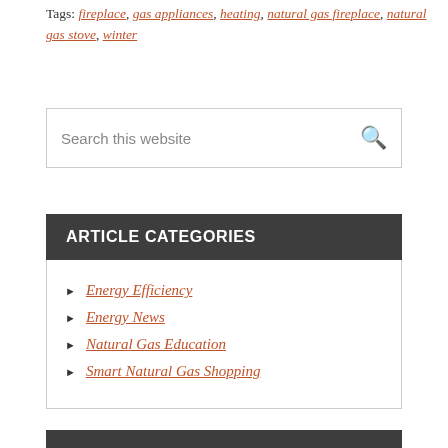Tags: fireplace, gas appliances, heating, natural gas fireplace, natural gas stove, winter
Search this website
ARTICLE CATEGORIES
Energy Efficiency
Energy News
Natural Gas Education
Smart Natural Gas Shopping